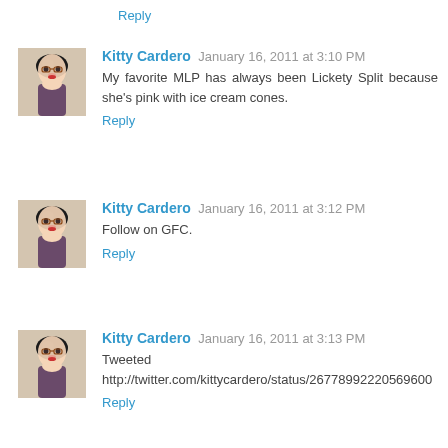Reply
Kitty Cardero  January 16, 2011 at 3:10 PM
My favorite MLP has always been Lickety Split because she's pink with ice cream cones.
Reply
Kitty Cardero  January 16, 2011 at 3:12 PM
Follow on GFC.
Reply
Kitty Cardero  January 16, 2011 at 3:13 PM
Tweeted http://twitter.com/kittycardero/status/26778992220569600
Reply